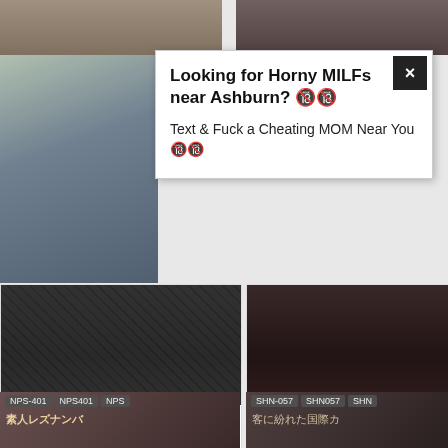[Figure (screenshot): Adult content website screenshot with thumbnail grid and popup advertisement]
Looking for Horny MILFs near Ashburn? 🔞🔞
Text & Fuck a Cheating MOM Near You 🔞🔞
[IBW-789]日焼け美少女たち●犯●4時間
[DBER-071]The Legend Of The Explosive Orgasm!! - Incredible
[Figure (screenshot): Bottom left thumbnail NPS-401]
[Figure (screenshot): Bottom right thumbnail SHN-057]